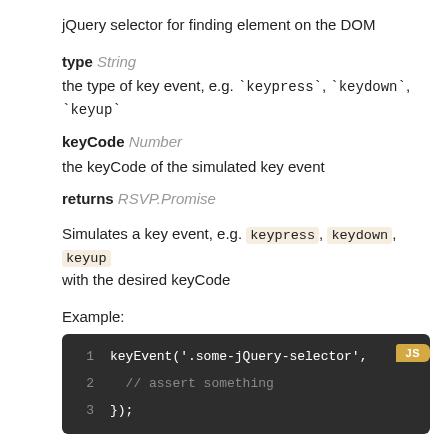jQuery selector for finding element on the DOM
type String
the type of key event, e.g. `keypress`, `keydown`, `keyup`
keyCode Number
the keyCode of the simulated key event
returns RSVP.Promise
Simulates a key event, e.g. keypress, keydown, keyup with the desired keyCode
Example:
[Figure (screenshot): Code block showing: 1  keyEvent('.some-jQuery-selector',  2    // assert something  3  }); with JS badge]